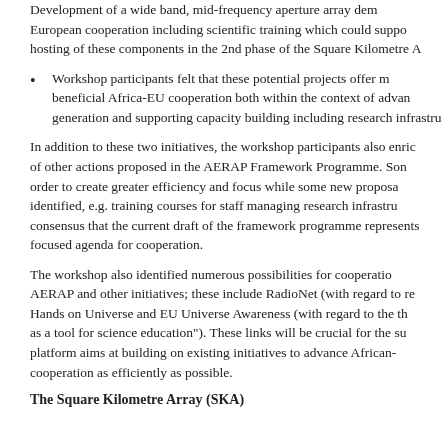Development of a wide band, mid-frequency aperture array demonstrator — a European cooperation including scientific training which could support the hosting of these components in the 2nd phase of the Square Kilometre Array.
Workshop participants felt that these potential projects offer mutually beneficial Africa-EU cooperation both within the context of advanced technology generation and supporting capacity building including research infrastructure.
In addition to these two initiatives, the workshop participants also enriched a number of other actions proposed in the AERAP Framework Programme. Some were merged in order to create greater efficiency and focus while some new proposals were identified, e.g. training courses for staff managing research infrastructures. There was consensus that the current draft of the framework programme represents a concrete and focused agenda for cooperation.
The workshop also identified numerous possibilities for cooperation between AERAP and other initiatives; these include RadioNet (with regard to research) and Hands on Universe and EU Universe Awareness (with regard to the theme "astronomy as a tool for science education"). These links will be crucial for the success as the platform aims at building on existing initiatives to advance African-EU cooperation as efficiently as possible.
The Square Kilometre Array (SKA)